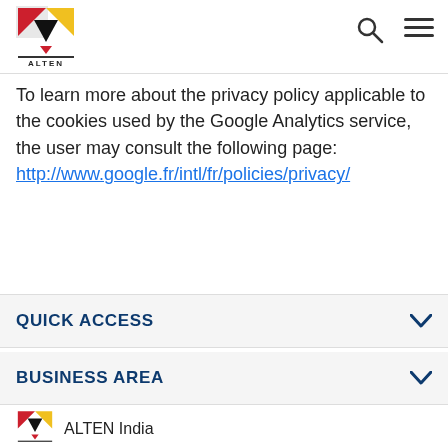[Figure (logo): ALTEN company logo — stylized letter A in red, yellow, and black with the word ALTEN below]
To learn more about the privacy policy applicable to the cookies used by the Google Analytics service, the user may consult the following page: http://www.google.fr/intl/fr/policies/privacy/
QUICK ACCESS
BUSINESS AREA
ALTEN India